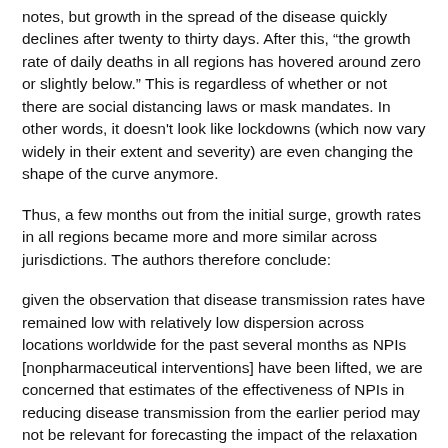notes, but growth in the spread of the disease quickly declines after twenty to thirty days. After this, “the growth rate of daily deaths in all regions has hovered around zero or slightly below.” This is regardless of whether or not there are social distancing laws or mask mandates. In other words, it doesn't look like lockdowns (which now vary widely in their extent and severity) are even changing the shape of the curve anymore.
Thus, a few months out from the initial surge, growth rates in all regions became more and more similar across jurisdictions. The authors therefore conclude:
given the observation that disease transmission rates have remained low with relatively low dispersion across locations worldwide for the past several months as NPIs [nonpharmaceutical interventions] have been lifted, we are concerned that estimates of the effectiveness of NPIs in reducing disease transmission from the earlier period may not be relevant for forecasting the impact of the relaxation of those NPIs in the current period, due to some unobserved switch in regime.